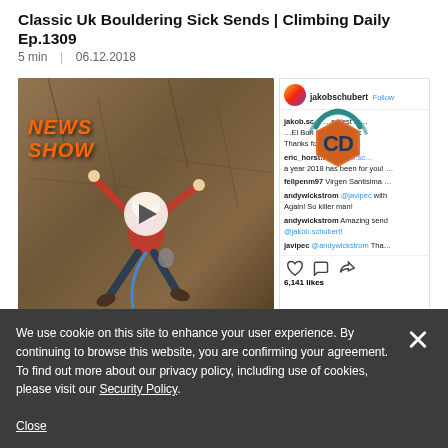Classic Uk Bouldering Sick Sends | Climbing Daily Ep.1309
5 min  |  06.12.2018
[Figure (screenshot): Video thumbnail showing a climber on a rock face with 'NEWS SHOW' text in orange, alongside an Instagram post with a CD (Climbing Daily) logo overlay, comments, and 6,141 likes]
We use cookie on this site to enhance your user experience. By continuing to browse this website, you are confirming your agreement. To find out more about our privacy policy, including use of cookies, please visit our Security Policy.
Close